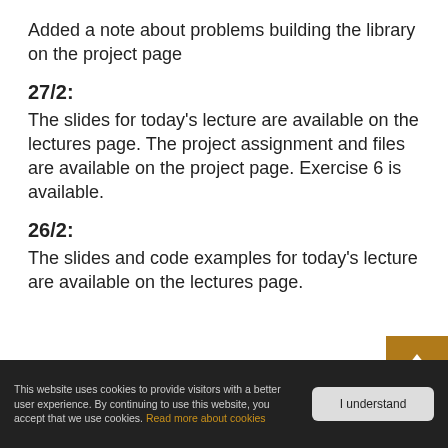Added a note about problems building the library on the project page
27/2:
The slides for today's lecture are available on the lectures page. The project assignment and files are available on the project page. Exercise 6 is available.
26/2:
The slides and code examples for today's lecture are available on the lectures page.
This website uses cookies to provide visitors with a better user experience. By continuing to use this website, you accept that we use cookies. Read more about cookies